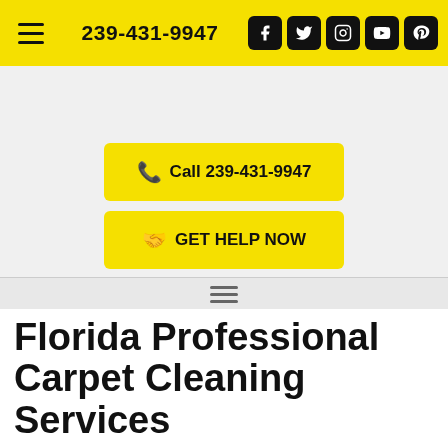239-431-9947
Call 239-431-9947
GET HELP NOW
Florida Professional Carpet Cleaning Services